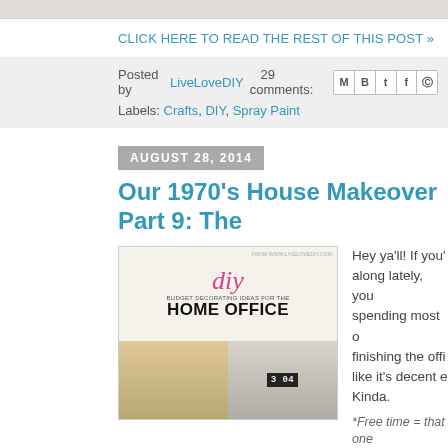[Figure (screenshot): Top strip of a blog page image]
CLICK HERE TO READ THE REST OF THIS POST »
Posted by LiveLoveDIY   29 comments:
Labels: Crafts, DIY, Spray Paint
AUGUST 28, 2014
Our 1970's House Makeover Part 9: The
[Figure (photo): DIY Budget Decorating Ideas for the Home Office blog image collage]
Hey ya'll! If you've been following along lately, you know I've been spending most of my free time* finishing the office. It finally feels like it's decent enough to share. Kinda.
*Free time = that one week that I wasn't traveling to visit...